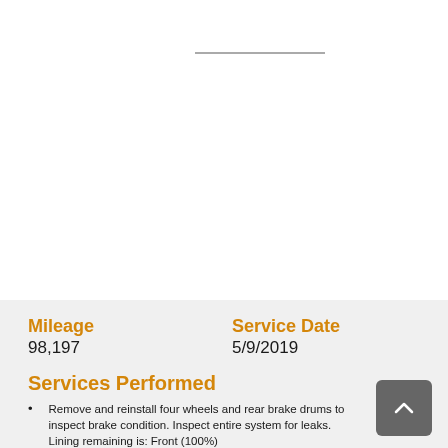[Figure (other): Thin horizontal line/divider near top of page]
Mileage
98,197
Service Date
5/9/2019
Services Performed
Remove and reinstall four wheels and rear brake drums to inspect brake condition. Inspect entire system for leaks. Lining remaining is: Front (100%)